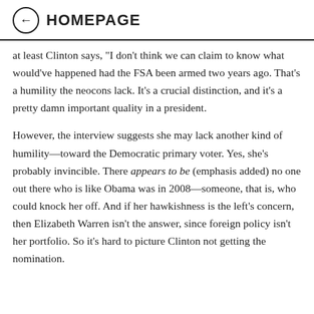← HOMEPAGE
at least Clinton says, "I don't think we can claim to know what would've happened had the FSA been armed two years ago. That's a humility the neocons lack. It's a crucial distinction, and it's a pretty damn important quality in a president.
However, the interview suggests she may lack another kind of humility—toward the Democratic primary voter. Yes, she's probably invincible. There appears to be (emphasis added) no one out there who is like Obama was in 2008—someone, that is, who could knock her off. And if her hawkishness is the left's concern, then Elizabeth Warren isn't the answer, since foreign policy isn't her portfolio. So it's hard to picture Clinton not getting the nomination.